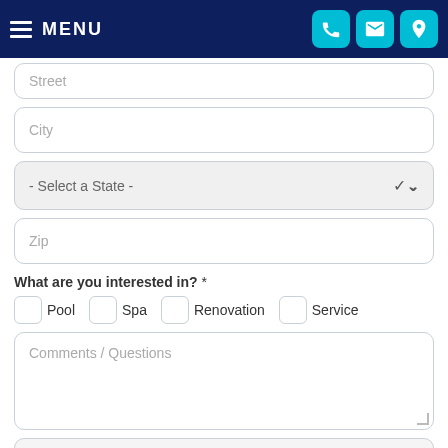MENU [navigation bar with phone, email, location icons]
Street
City
- Select a State -
Zip
What are you interested in? *
Pool
Spa
Renovation
Service
Comments / Questions